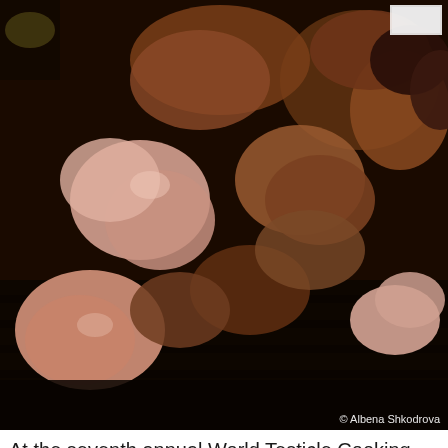[Figure (photo): Close-up photo of various meat pieces (testicles) cooking on a dark grill, with a watermark '© Albena Shkodrova' in the lower right corner.]
At the seventh annual World Testicle Cooking Championship, held August 28-29 in Ozrem, Serbia, participants cook and eat the testicles of bulls, stallions, boars, camels, ostriches and kangaroos. Preparations include testicle pizza and testicle goulash. (photo from the 2009 competition: Albena Shkodrova, Bacchus Magazine)